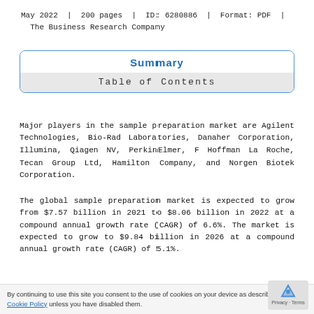May 2022 | 200 pages | ID: 6280886 | Format: PDF | The Business Research Company
Summary
Table of Contents
Major players in the sample preparation market are Agilent Technologies, Bio-Rad Laboratories, Danaher Corporation, Illumina, Qiagen NV, PerkinElmer, F Hoffman La Roche, Tecan Group Ltd, Hamilton Company, and Norgen Biotek Corporation.
The global sample preparation market is expected to grow from $7.57 billion in 2021 to $8.06 billion in 2022 at a compound annual growth rate (CAGR) of 6.6%. The market is expected to grow to $9.84 billion in 2026 at a compound annual growth rate (CAGR) of 5.1%.
By continuing to use this site you consent to the use of cookies on your device as described in our Cookie Policy unless you have disabled them.